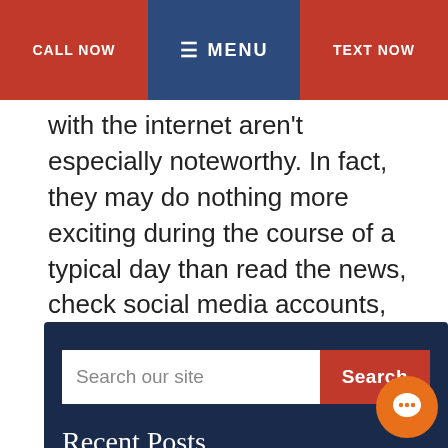CALL NOW | MENU | TEXT NOW
with the internet aren't especially noteworthy. In fact, they may do nothing more exciting during the course of a typical day than read the news, check social media accounts, make some purchases or send out...
read more
Search our site
Recent Posts